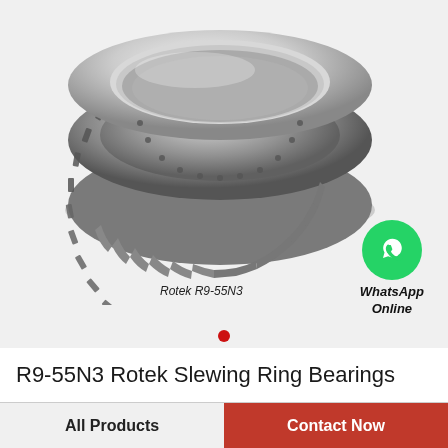[Figure (photo): Photograph of a Rotek R9-55N3 slewing ring bearing — a large circular steel ring with external gear teeth around the outer circumference and bolt holes visible on the flat ring face. The bearing appears in metallic silver/grey tones against a light grey background. A label inside the image reads 'Rotek R9-55N3'.]
[Figure (logo): WhatsApp green circle logo icon with white phone handset, accompanied by text 'WhatsApp Online' in bold italic.]
R9-55N3 Rotek Slewing Ring Bearings
All Products
Contact Now